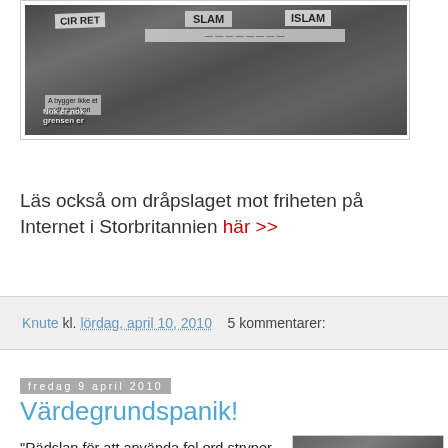[Figure (photo): Protest demonstration with people holding signs, some reading 'ISLAM', 'Nok er nok', 'grensen er']
Läs också om dråpslaget mot friheten på Internet i Storbritannien här >>
Knute kl. lördag, april 10, 2010   5 kommentarer:
fredag 9 april 2010
Värdegrundspanik!
"Rädslan för att använda fel ord stryper polisarbetet. Stämningen påminner om livet i en kommunistdiktatur, anser Polisförbundet som nu slår larm."
[Figure (photo): Police officers and people in street confrontation scene]